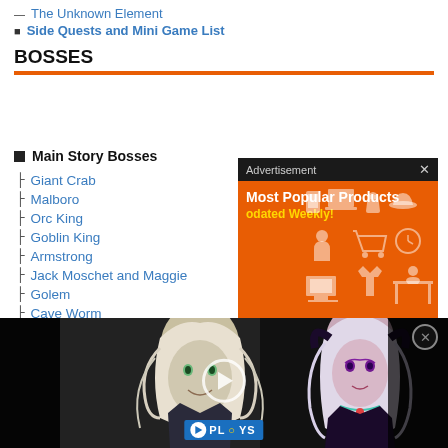The Unknown Element
Side Quests and Mini Game List
BOSSES
Main Story Bosses
Giant Crab
Malboro
Orc King
Goblin King
Armstrong
Jack Moschet and Maggie
Golem
Cave Worm
Lizardman King
[Figure (screenshot): Advertisement overlay showing 'Most Popular Products Updated Weekly!' on orange background with product icons]
[Figure (screenshot): Video player overlay showing fantasy game characters (white-haired male and white-haired female with purple accents) with PLAYS branding and play button]